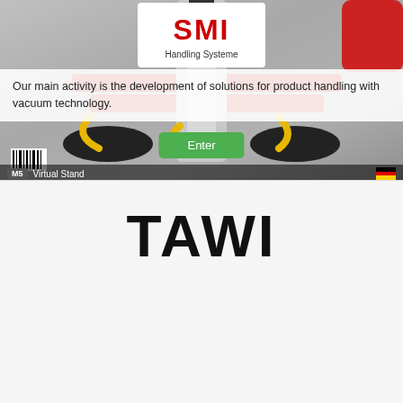[Figure (photo): SMI Handling Systeme logo on white box inset over industrial vacuum handling equipment photo showing red and yellow mechanical components]
Our main activity is the development of solutions for product handling with vacuum technology.
Enter
M5  Virtual Stand
[Figure (logo): TAWI logo in large bold black text]